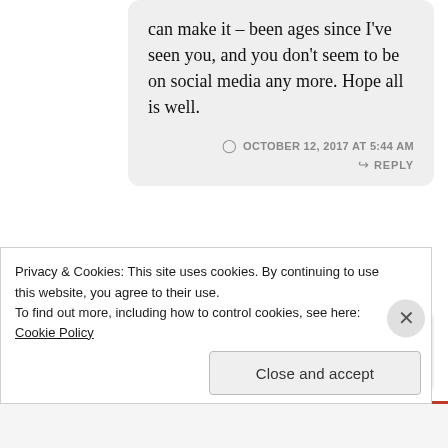can make it – been ages since I've seen you, and you don't seem to be on social media any more. Hope all is well.
OCTOBER 12, 2017 AT 5:44 AM
REPLY
Lee Catton
Privacy & Cookies: This site uses cookies. By continuing to use this website, you agree to their use.
To find out more, including how to control cookies, see here: Cookie Policy
Close and accept